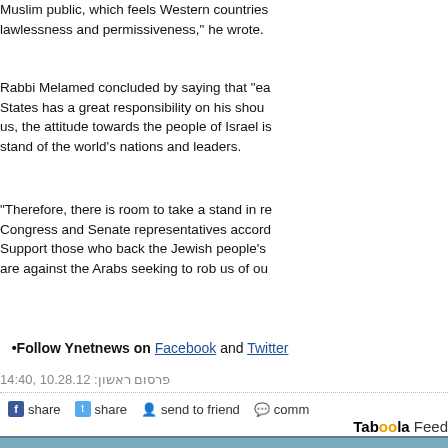Muslim public, which feels Western countries lawlessness and permissiveness," he wrote.
Rabbi Melamed concluded by saying that "ea States has a great responsibility on his shou us, the attitude towards the people of Israel i stand of the world's nations and leaders.
"Therefore, there is room to take a stand in re Congress and Senate representatives accor Support those who back the Jewish people's are against the Arabs seeking to rob us of ou
•Follow Ynetnews on Facebook and Twitter
פרסום ראשון: 10.28.12, 14:40
share share send to friend comm
Taboola Feed
[Figure (photo): A smiling woman with dreadlocks wearing a red coat, standing outdoors with trees in background]